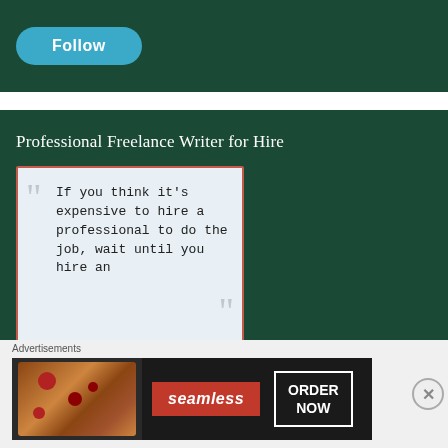Follow
Professional Freelance Writer for Hire
[Figure (illustration): Quote card with light blue background and red border containing text: 'If you think it's expensive to hire a professional to do the job, wait until you hire an' with decorative quotation marks]
Advertisements
[Figure (infographic): Seamless food delivery advertisement banner showing pizza image on left, Seamless red logo in center, and ORDER NOW button on right]